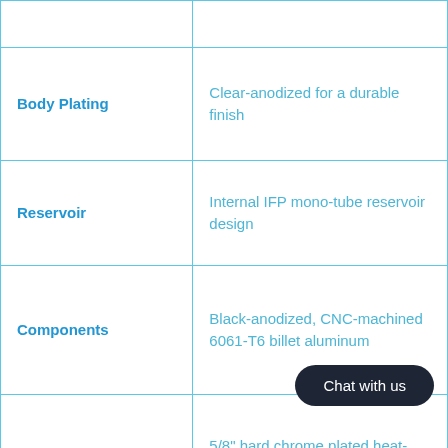| Feature | Description |
| --- | --- |
|  |  |
| Body Plating | Clear-anodized for a durable finish |
| Reservoir | Internal IFP mono-tube reservoir design |
| Components | Black-anodized, CNC-machined 6061-T6 billet aluminum |
| Shaft | 5/8" hard chrome plated heat-treated alloy steel |
| Piston | Race-developed high-flow [partially obscured] |
|  | Application specific |